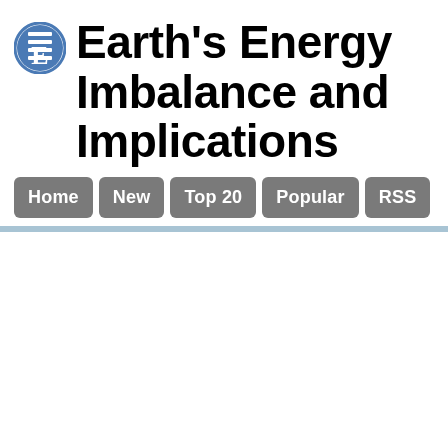Earth's Energy Imbalance and Implications
Home
New
Top 20
Popular
RSS